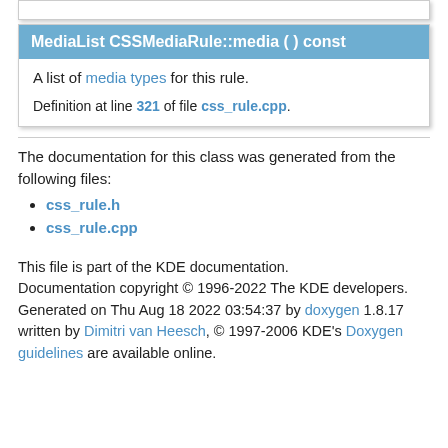MediaList CSSMediaRule::media ( ) const
A list of media types for this rule.
Definition at line 321 of file css_rule.cpp.
The documentation for this class was generated from the following files:
css_rule.h
css_rule.cpp
This file is part of the KDE documentation. Documentation copyright © 1996-2022 The KDE developers. Generated on Thu Aug 18 2022 03:54:37 by doxygen 1.8.17 written by Dimitri van Heesch, © 1997-2006 KDE's Doxygen guidelines are available online.